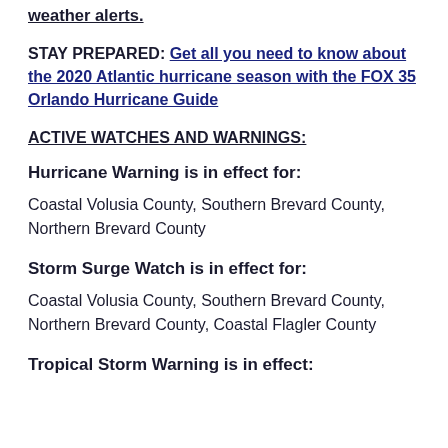weather alerts.
STAY PREPARED: Get all you need to know about the 2020 Atlantic hurricane season with the FOX 35 Orlando Hurricane Guide
ACTIVE WATCHES AND WARNINGS:
Hurricane Warning is in effect for:
Coastal Volusia County, Southern Brevard County, Northern Brevard County
Storm Surge Watch is in effect for:
Coastal Volusia County, Southern Brevard County, Northern Brevard County, Coastal Flagler County
Tropical Storm Warning is in effect: